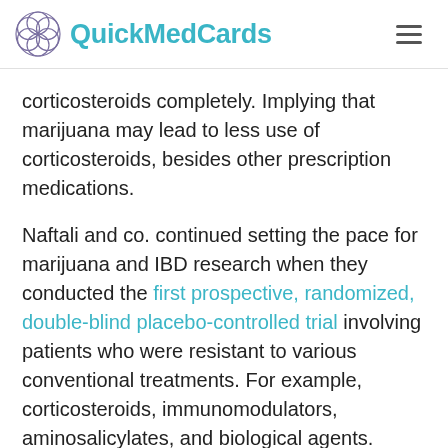QuickMedCards
corticosteroids completely. Implying that marijuana may lead to less use of corticosteroids, besides other prescription medications.
Naftali and co. continued setting the pace for marijuana and IBD research when they conducted the first prospective, randomized, double-blind placebo-controlled trial involving patients who were resistant to various conventional treatments. For example, corticosteroids, immunomodulators, aminosalicylates, and biological agents.
At the end of the trial period, none of the patients were required to use corticosteroids. Additionally, two patients who used opiates to ease their chronic pain